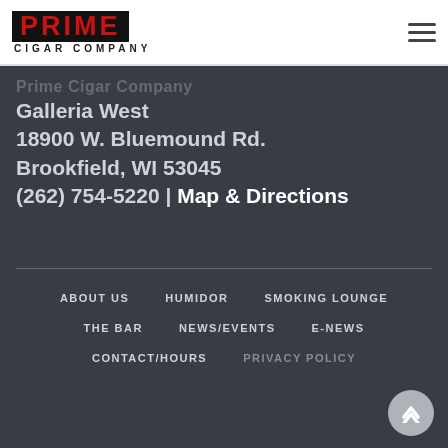[Figure (logo): Prime Cigar Company logo — red text on black background with 'CIGAR COMPANY' subtitle]
Prime Cigar Company
Galleria West
18900 W. Bluemound Rd.
Brookfield, WI 53045
(262) 754-5220 | Map & Directions
ABOUT US
HUMIDOR
SMOKING LOUNGE
THE BAR
NEWS/EVENTS
E-NEWS
CONTACT/HOURS
PRIVACY POLICY